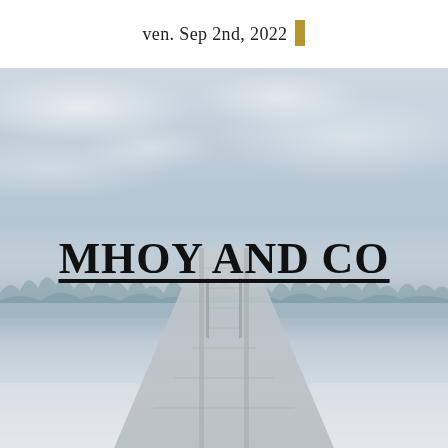ven. Sep 2nd, 2022
[Figure (photo): A serene winter/misty lake scene with a wooden dock extending into calm water, trees silhouetted in the background, and a grey-white sky.]
MHOY AND CO